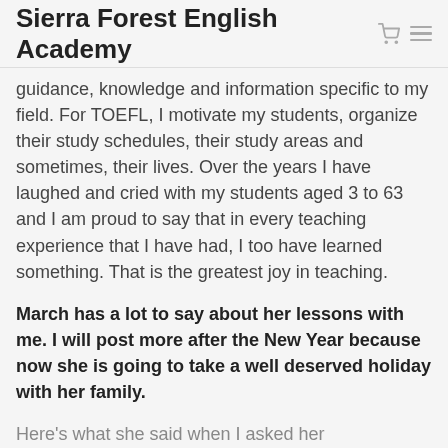Sierra Forest English Academy
guidance, knowledge and information specific to my field. For TOEFL, I motivate my students, organize their study schedules, their study areas and sometimes, their lives. Over the years I have laughed and cried with my students aged 3 to 63 and I am proud to say that in every teaching experience that I have had, I too have learned something. That is the greatest joy in teaching.
March has a lot to say about her lessons with me. I will post more after the New Year because now she is going to take a well deserved holiday with her family.
Here’s what she said when I asked her